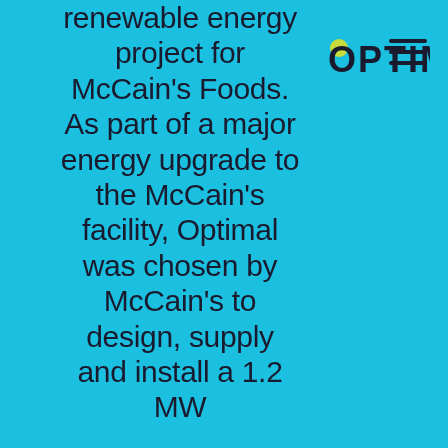[Figure (logo): OPTIMAL company logo in dark text on cyan background with a yellow/green dot accent on the O]
[Figure (other): Hamburger menu icon (three horizontal lines) in dark color on top right]
renewable energy project for McCain's Foods. As part of a major energy upgrade to the McCain's facility, Optimal was chosen by McCain's to design, supply and install a 1.2 MW